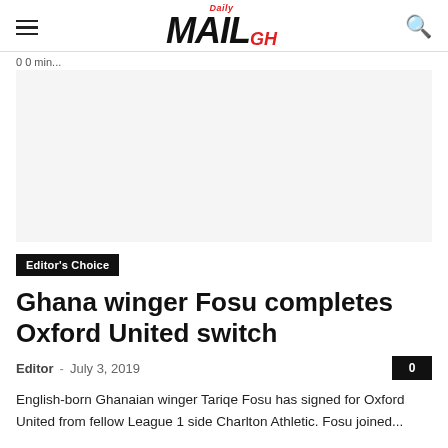Daily MAIL GH
0 0 min...
[Figure (photo): Blank image placeholder area]
Editor's Choice
Ghana winger Fosu completes Oxford United switch
Editor - July 3, 2019   0
English-born Ghanaian winger Tariqe Fosu has signed for Oxford United from fellow League 1 side Charlton Athletic. Fosu joined...